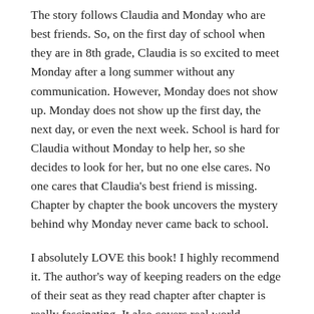The story follows Claudia and Monday who are best friends. So, on the first day of school when they are in 8th grade, Claudia is so excited to meet Monday after a long summer without any communication. However, Monday does not show up. Monday does not show up the first day, the next day, or even the next week. School is hard for Claudia without Monday to help her, so she decides to look for her, but no one else cares. No one cares that Claudia's best friend is missing. Chapter by chapter the book uncovers the mystery behind why Monday never came back to school.
I absolutely LOVE this book! I highly recommend it. The author's way of keeping readers on the edge of their seat as they read chapter after chapter is really fascinating. It also covers real world problems like child abuse and kids who go missing. It is an excellent 10/10 read!